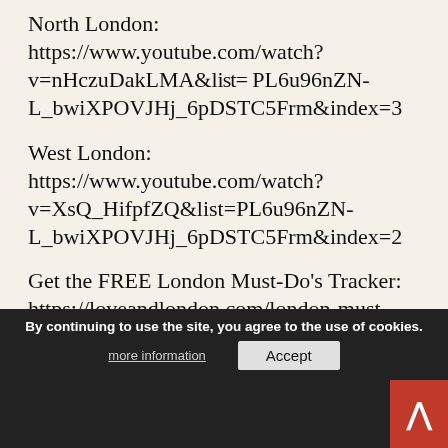North London: https://www.youtube.com/watch?v=nHczuDakLMA&list=PL6u96nZN-L_bwiXPOVJHj_6pDSTC5Frm&index=3
West London: https://www.youtube.com/watch?v=XsQ_HifpfZQ&list=PL6u96nZN-L_bwiXPOVJHj_6pDSTC5Frm&index=2
Get the FREE London Must-Do's Tracker: https://loveandlondon.com/london-must-dos-tracker/
Free London 101 Guide for first-time London visitors: https://goo.gl/Eh3HP3
3-Day London Itinerary (PDF guide and digital map included) plus all of my other London guides: shop.loveandlondon.com
Tons of help with London stuff on the Love and London website (articles and more):